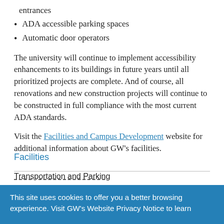entrances
ADA accessible parking spaces
Automatic door operators
The university will continue to implement accessibility enhancements to its buildings in future years until all prioritized projects are complete. And of course, all renovations and new construction projects will continue to be constructed in full compliance with the most current ADA standards.
Visit the Facilities and Campus Development website for additional information about GW's facilities.
Facilities
Transportation and Parking
This site uses cookies to offer you a better browsing experience. Visit GW's Website Privacy Notice to learn